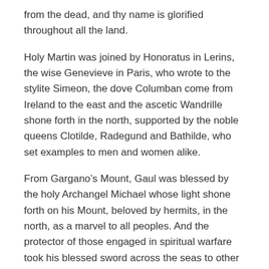from the dead, and thy name is glorified throughout all the land.
Holy Martin was joined by Honoratus in Lerins, the wise Genevieve in Paris, who wrote to the stylite Simeon, the dove Columban come from Ireland to the east and the ascetic Wandrille shone forth in the north, supported by the noble queens Clotilde, Radegund and Bathilde, who set examples to men and women alike.
From Gargano’s Mount, Gaul was blessed by the holy Archangel Michael whose light shone forth on his Mount, beloved by hermits, in the north, as a marvel to all peoples. And the protector of those engaged in spiritual warfare took his blessed sword across the seas to other hermit-beloved isles, far and wide.
The north was enlightened by the martyr Chrysolius, come from distant Armenia, together with Servatus of Tongres,